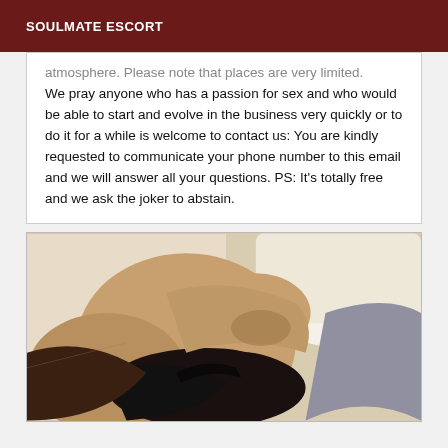SOULMATE ESCORT
atmosphere. Please note that places are very limited. We pray anyone who has a passion for sex and who would be able to start and evolve in the business very quickly or to do it for a while is welcome to contact us: You are kindly requested to communicate your phone number to this email and we will answer all your questions. PS: It's totally free and we ask the joker to abstain.
[Figure (photo): Close-up photo of a person wearing dark lingerie, partially visible torso and neck area, indoor setting with light background]